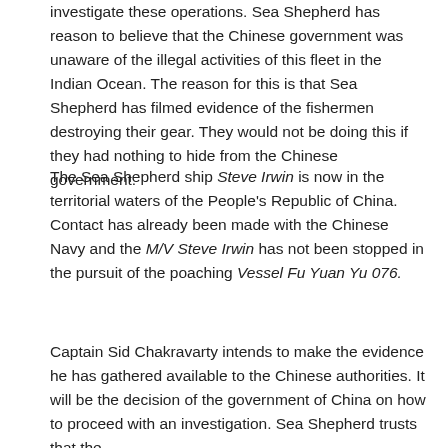investigate these operations. Sea Shepherd has reason to believe that the Chinese government was unaware of the illegal activities of this fleet in the Indian Ocean. The reason for this is that Sea Shepherd has filmed evidence of the fishermen destroying their gear. They would not be doing this if they had nothing to hide from the Chinese government.
The Sea Shepherd ship Steve Irwin is now in the territorial waters of the People's Republic of China. Contact has already been made with the Chinese Navy and the M/V Steve Irwin has not been stopped in the pursuit of the poaching Vessel Fu Yuan Yu 076.
Captain Sid Chakravarty intends to make the evidence he has gathered available to the Chinese authorities. It will be the decision of the government of China on how to proceed with an investigation. Sea Shepherd trusts that the